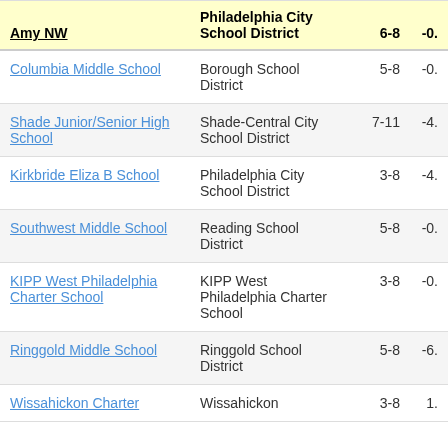| Amy NW | Philadelphia City School District | 6-8 | -0. |
| --- | --- | --- | --- |
| Columbia Middle School | Borough School District | 5-8 | -0. |
| Shade Junior/Senior High School | Shade-Central City School District | 7-11 | -4. |
| Kirkbride Eliza B School | Philadelphia City School District | 3-8 | -4. |
| Southwest Middle School | Reading School District | 5-8 | -0. |
| KIPP West Philadelphia Charter School | KIPP West Philadelphia Charter School | 3-8 | -0. |
| Ringgold Middle School | Ringgold School District | 5-8 | -6. |
| Wissahickon Charter | Wissahickon | 3-8 | 1. |